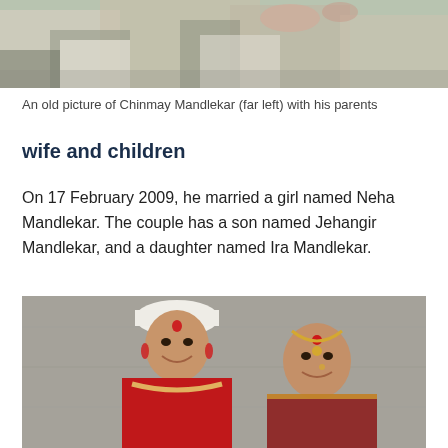[Figure (photo): An old family photo showing Chinmay Mandlekar as a young child (far left) with his parents, partially cropped at the top of the page.]
An old picture of Chinmay Mandlekar (far left) with his parents
wife and children
On 17 February 2009, he married a girl named Neha Mandlekar. The couple has a son named Jehangir Mandlekar, and a daughter named Ira Mandlekar.
[Figure (photo): A wedding photo showing Chinmay Mandlekar in traditional Indian groom attire (white cap, red sherwani with garland) and his wife Neha Mandlekar in traditional bridal attire, both smiling.]